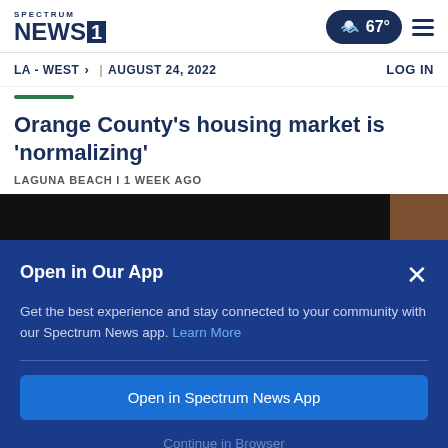SPECTRUM NEWS 1
LA - WEST > | AUGUST 24, 2022   LOG IN
Orange County's housing market is 'normalizing'
LAGUNA BEACH I 1 WEEK AGO
[Figure (screenshot): Modal overlay on a news website showing an app promotion banner with title 'Open in Our App', descriptive text, a blue button 'Open in Spectrum News App', and a 'Continue in Browser' link]
Open in Our App
Get the best experience and stay connected to your community with our Spectrum News app. Learn More
Open in Spectrum News App
Continue in Browser